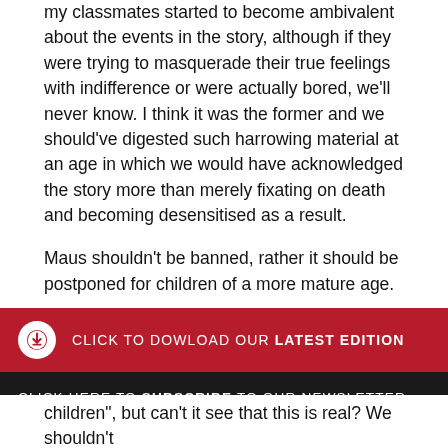my classmates started to become ambivalent about the events in the story, although if they were trying to masquerade their true feelings with indifference or were actually bored, we'll never know. I think it was the former and we should've digested such harrowing material at an age in which we would have acknowledged the story more than merely fixating on death and becoming desensitised as a result.
Maus shouldn't be banned, rather it should be postponed for children of a more mature age.
Zara Abramsohn
CLICK TO DOWLOAD OUR LATEST EDITION
CLICK HERE TO SUBSCRIBE TO OUR NEWSLETTER
children", but can't it see that this is real? We shouldn't